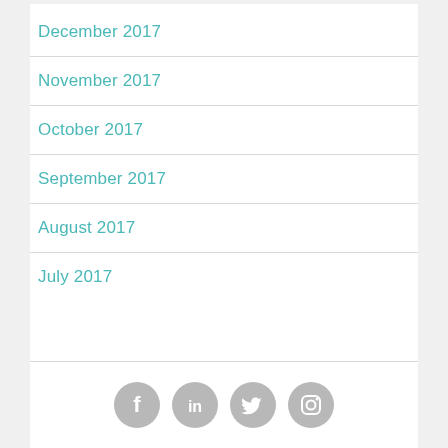December 2017
November 2017
October 2017
September 2017
August 2017
July 2017
[Figure (illustration): Social media icons: Facebook, LinkedIn, Twitter, Instagram — gray circular icons in a row]